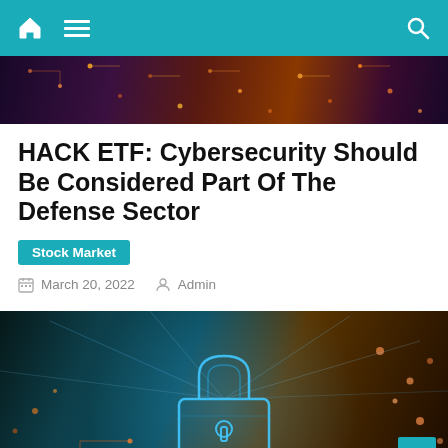Navigation bar with home, menu, and search icons
[Figure (photo): Cybersecurity/circuit board themed header banner image with dark purple, red and orange tones showing circuit board pattern]
HACK ETF: Cybersecurity Should Be Considered Part Of The Defense Sector
Stock Market
March 20, 2022  Admin
[Figure (photo): Digital cybersecurity concept image showing a glowing blue padlock on a dark circuit board background with orange light streaks]